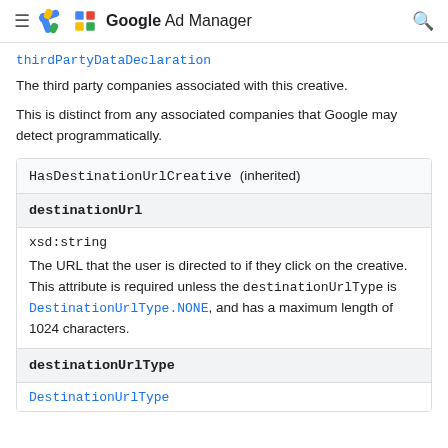Google Ad Manager
thirdPartyDataDeclaration
The third party companies associated with this creative.
This is distinct from any associated companies that Google may detect programmatically.
| HasDestinationUrlCreative (inherited) |
| --- |
| destinationUrl |
| xsd:string |
| The URL that the user is directed to if they click on the creative. This attribute is required unless the destinationUrlType is DestinationUrlType.NONE, and has a maximum length of 1024 characters. |
| destinationUrlType |
| DestinationUrlType |
DestinationUrlType